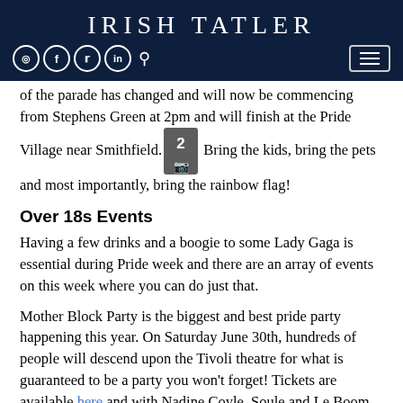IRISH TATLER
of the parade has changed and will now be commencing from Stephens Green at 2pm and will finish at the Pride Village near Smithfield. Bring the kids, bring the pets and most importantly, bring the rainbow flag!
Over 18s Events
Having a few drinks and a boogie to some Lady Gaga is essential during Pride week and there are an array of events on this week where you can do just that.
Mother Block Party is the biggest and best pride party happening this year. On Saturday June 30th, hundreds of people will descend upon the Tivoli theatre for what is guaranteed to be a party you won't forget! Tickets are available here and with Nadine Coyle, Soule and Le Boom playing, tickets will fly out the door.